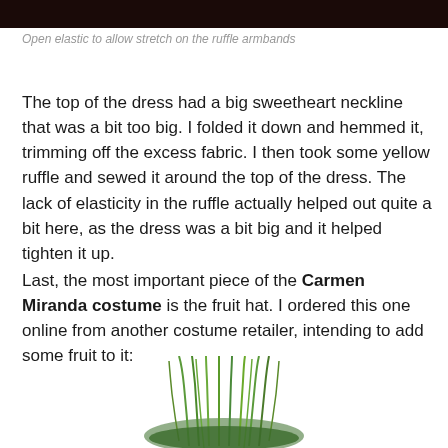[Figure (photo): Dark photo strip at the top of the page, very dark brown/black tones]
Open elastic to allow stretch on the ruffle armbands
The top of the dress had a big sweetheart neckline that was a bit too big. I folded it down and hemmed it, trimming off the excess fabric. I then took some yellow ruffle and sewed it around the top of the dress. The lack of elasticity in the ruffle actually helped out quite a bit here, as the dress was a bit big and it helped tighten it up.
Last, the most important piece of the Carmen Miranda costume is the fruit hat. I ordered this one online from another costume retailer, intending to add some fruit to it:
[Figure (photo): Green feathery/furry fruit hat, bottom portion visible at the bottom center of the page]